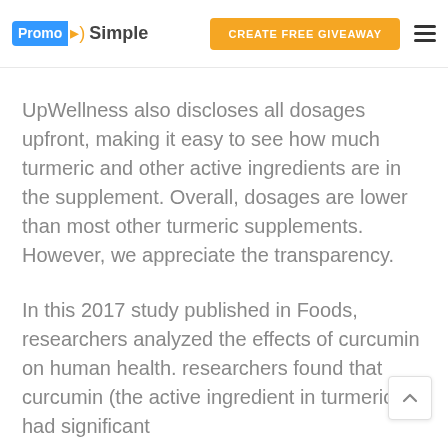PromoSimple | CREATE FREE GIVEAWAY
UpWellness also discloses all dosages upfront, making it easy to see how much turmeric and other active ingredients are in the supplement. Overall, dosages are lower than most other turmeric supplements. However, we appreciate the transparency.
In this 2017 study published in Foods, researchers analyzed the effects of curcumin on human health. researchers found that curcumin (the active ingredient in turmeric) had significant